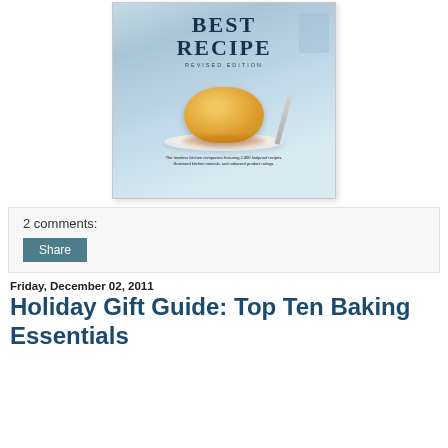[Figure (photo): Book cover of 'Best Recipe Revised Edition' showing a flan dessert on a white plate with a spoon, with subtitle text about foolproof recipes, illustrated kitchen tutorials, and unbiased product ratings.]
2 comments:
Share
Friday, December 02, 2011
Holiday Gift Guide: Top Ten Baking Essentials